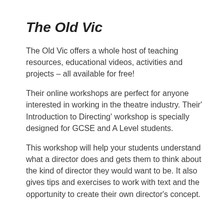The Old Vic
The Old Vic offers a whole host of teaching resources, educational videos, activities and projects – all available for free!
Their online workshops are perfect for anyone interested in working in the theatre industry. Their' Introduction to Directing' workshop is specially designed for GCSE and A Level students.
This workshop will help your students understand what a director does and gets them to think about the kind of director they would want to be. It also gives tips and exercises to work with text and the opportunity to create their own director's concept.